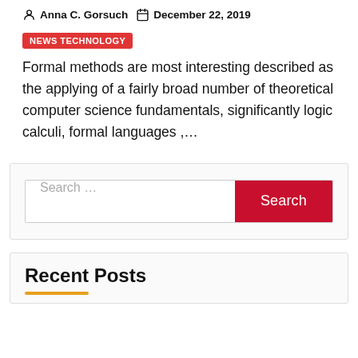Anna C. Gorsuch   December 22, 2019
NEWS TECHNOLOGY
Formal methods are most interesting described as the applying of a fairly broad number of theoretical computer science fundamentals, significantly logic calculi, formal languages ,...
Search ...
Recent Posts